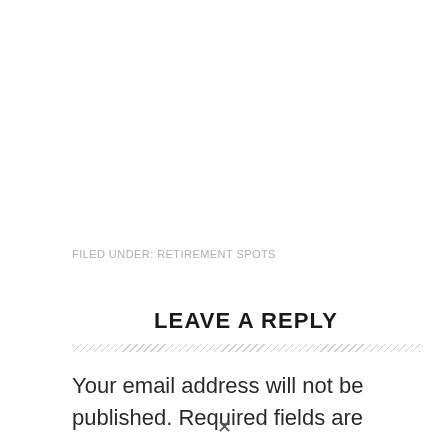FILED UNDER: RETIREMENT SPOTS
LEAVE A REPLY
Your email address will not be published. Required fields are